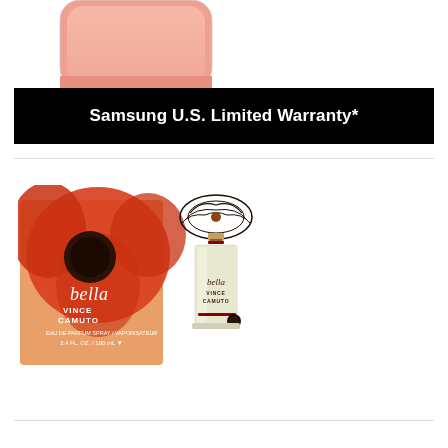[Figure (photo): Partial cropped image of a Samsung smartphone with a pink/salmon colored body, showing the screen area from above]
Samsung U.S. Limited Warranty*
[Figure (photo): Vince Camuto Bella perfume product image showing the orange/red floral box and the glass perfume bottle with ornate cap, 3.4 FL OZ / 100 mL Eau de Parfum Spray]